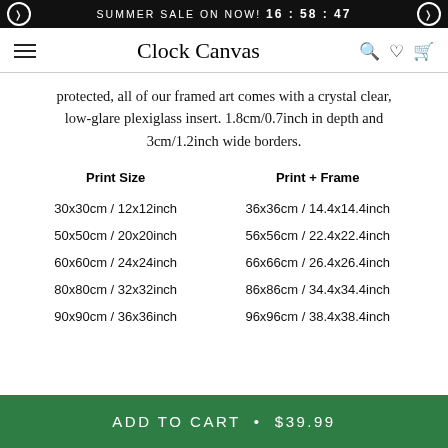SUMMER SALE ON NOW! 16 : 58 : 47
Clock Canvas
protected, all of our framed art comes with a crystal clear, low-glare plexiglass insert. 1.8cm/0.7inch in depth and 3cm/1.2inch wide borders.
| Print Size | Print + Frame |
| --- | --- |
| 30x30cm / 12x12inch | 36x36cm / 14.4x14.4inch |
| 50x50cm / 20x20inch | 56x56cm / 22.4x22.4inch |
| 60x60cm / 24x24inch | 66x66cm / 26.4x26.4inch |
| 80x80cm / 32x32inch | 86x86cm / 34.4x34.4inch |
| 90x90cm / 36x36inch | 96x96cm / 38.4x38.4inch |
ADD TO CART • $39.99